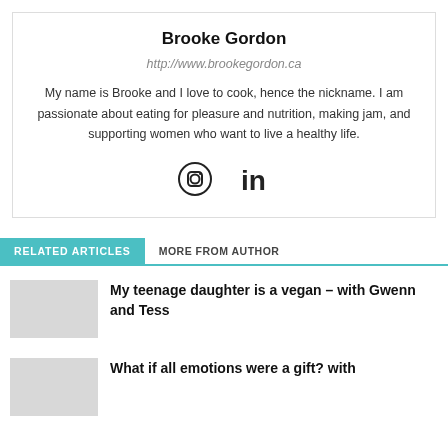Brooke Gordon
http://www.brookegordon.ca
My name is Brooke and I love to cook, hence the nickname. I am passionate about eating for pleasure and nutrition, making jam, and supporting women who want to live a healthy life.
[Figure (other): Social media icons: Instagram circle icon and LinkedIn 'in' icon]
RELATED ARTICLES | MORE FROM AUTHOR
My teenage daughter is a vegan – with Gwenn and Tess
What if all emotions were a gift? with